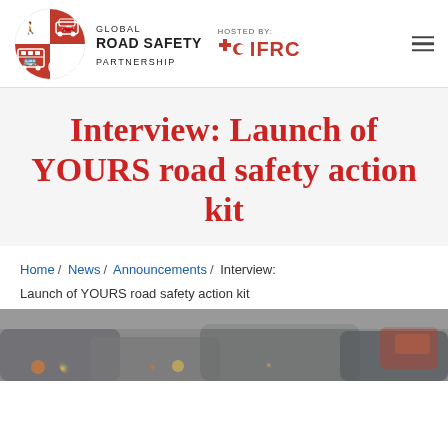[Figure (logo): Global Road Safety Partnership logo — red circle with vehicle icons, text GLOBAL ROAD SAFETY PARTNERSHIP, HOSTED BY: with IFRC red cross logo]
Interview: Launch of YOURS road safety action kit
Home / News / Announcements / Interview: Launch of YOURS road safety action kit
[Figure (photo): Blurred photo of cars in traffic with tail lights visible]